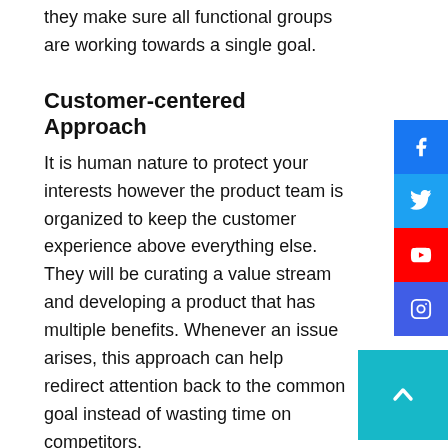they make sure all functional groups are working towards a single goal.
Customer-centered Approach
It is human nature to protect your interests however the product team is organized to keep the customer experience above everything else. They will be curating a value stream and developing a product that has multiple benefits. Whenever an issue arises, this approach can help redirect attention back to the common goal instead of wasting time on competitors.
Innovation Potential
The team will be more open to new ideas when all